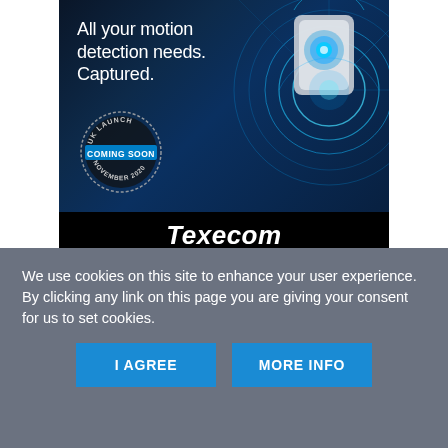[Figure (illustration): Texecom advertisement showing a motion detection device on a dark blue tech background with circular HUD graphics. Text reads 'All your motion detection needs. Captured.' A badge reads 'UK LAUNCH COMING SOON NOVEMBER 2020'. Bottom black bar shows the Texecom logo.]
We use cookies on this site to enhance your user experience.
By clicking any link on this page you are giving your consent for us to set cookies.
I AGREE
MORE INFO